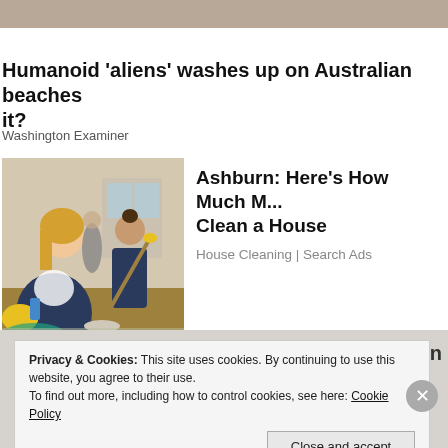Humanoid 'aliens' washes up on Australian beaches... it?
Washington Examiner
[Figure (photo): Two cleaning service workers in dark overalls cleaning a room; woman in foreground wearing yellow rubber gloves wiping a surface, man in background mopping the floor.]
Ashburn: Here's How Much M... Clean a House
House Cleaning | Search Ads
Privacy & Cookies: This site uses cookies. By continuing to use this website, you agree to their use.
To find out more, including how to control cookies, see here: Cookie Policy
Close and accept